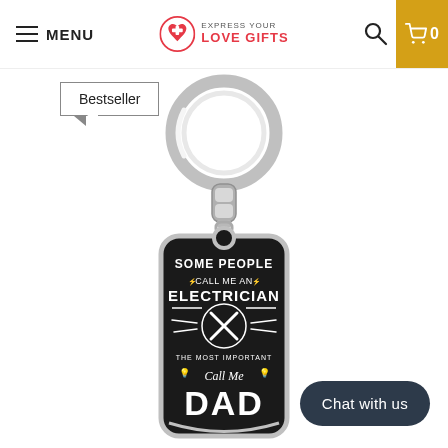MENU | EXPRESS YOUR LOVE GIFTS | 0
Bestseller
[Figure (photo): A dog tag keychain with a silver ring and swivel connector. The black tag reads: SOME PEOPLE CALL ME AN ELECTRICIAN THE MOST IMPORTANT Call Me DAD, with lightning bolt and crossed screwdriver/wrench graphic.]
Chat with us